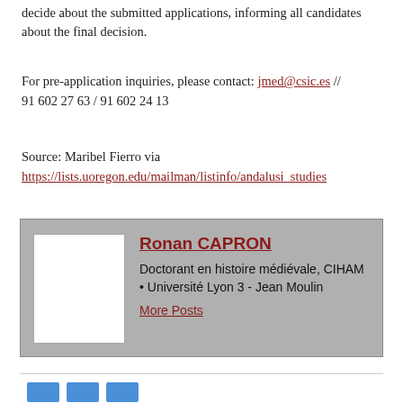decide about the submitted applications, informing all candidates about the final decision.
For pre-application inquiries, please contact: jmed@csic.es // 91 602 27 63 / 91 602 24 13
Source: Maribel Fierro via https://lists.uoregon.edu/mailman/listinfo/andalusi_studies
[Figure (other): Author card with photo placeholder for Ronan CAPRON, Doctorant en histoire médiévale, CIHAM • Université Lyon 3 - Jean Moulin, with More Posts link]
Social sharing icons (Twitter, Facebook, LinkedIn)